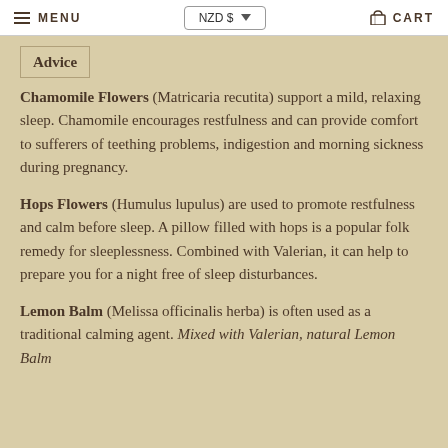MENU | NZD $ | CART
Advice
Chamomile Flowers (Matricaria recutita) support a mild, relaxing sleep. Chamomile encourages restfulness and can provide comfort to sufferers of teething problems, indigestion and morning sickness during pregnancy.
Hops Flowers (Humulus lupulus) are used to promote restfulness and calm before sleep. A pillow filled with hops is a popular folk remedy for sleeplessness. Combined with Valerian, it can help to prepare you for a night free of sleep disturbances.
Lemon Balm (Melissa officinalis herba) is often used as a traditional calming agent. Mixed with Valerian, natural Lemon Balm